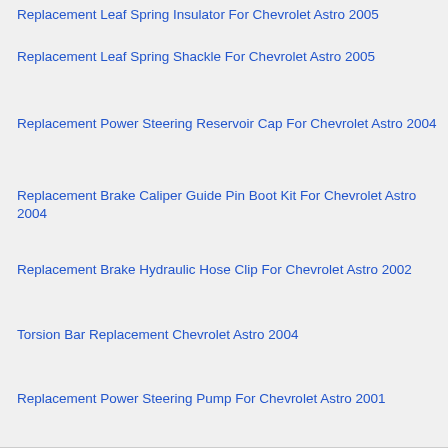Replacement Leaf Spring Insulator For Chevrolet Astro 2005
Replacement Leaf Spring Shackle For Chevrolet Astro 2005
Replacement Power Steering Reservoir Cap For Chevrolet Astro 2004
Replacement Brake Caliper Guide Pin Boot Kit For Chevrolet Astro 2004
Replacement Brake Hydraulic Hose Clip For Chevrolet Astro 2002
Torsion Bar Replacement Chevrolet Astro 2004
Replacement Power Steering Pump For Chevrolet Astro 2001